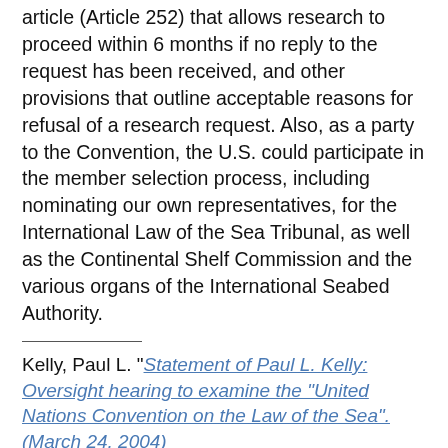article (Article 252) that allows research to proceed within 6 months if no reply to the request has been received, and other provisions that outline acceptable reasons for refusal of a research request. Also, as a party to the Convention, the U.S. could participate in the member selection process, including nominating our own representatives, for the International Law of the Sea Tribunal, as well as the Continental Shelf Commission and the various organs of the International Seabed Authority.
Kelly, Paul L. "Statement of Paul L. Kelly: Oversight hearing to examine the "United Nations Convention on the Law of the Sea". (March 24, 2004)